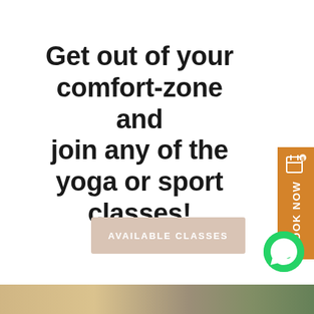Get out of your comfort-zone and join any of the yoga or sport classes!
[Figure (other): Orange vertical Book Now button with calendar icon on right side]
AVAILABLE CLASSES
[Figure (other): Green WhatsApp icon button]
[Figure (photo): Outdoor photo strip at bottom of page showing trees and landscape]